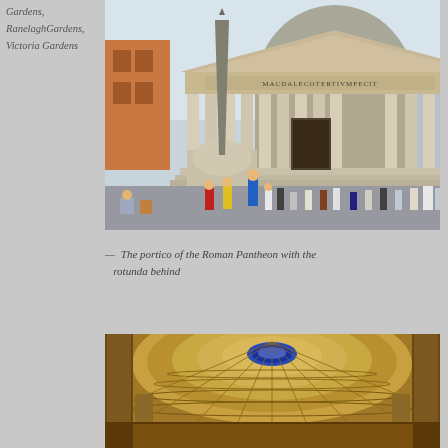Gardens, RanelaghGardens, Victoria Gardens
[Figure (photo): The portico of the Roman Pantheon with the rotunda behind, showing the obelisk fountain in the foreground and crowds of tourists.]
— The portico of the Roman Pantheon with the rotunda behind
[Figure (photo): Interior view of the Pantheon dome looking upward, showing the coffered ceiling with a blue central oculus.]